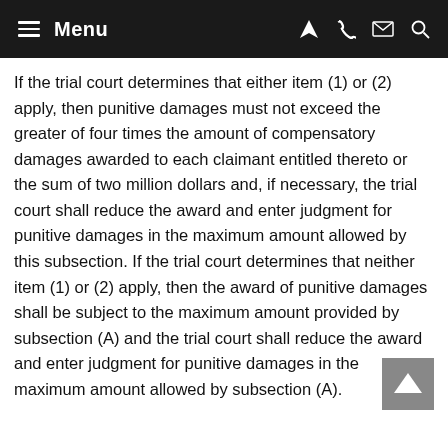Menu
If the trial court determines that either item (1) or (2) apply, then punitive damages must not exceed the greater of four times the amount of compensatory damages awarded to each claimant entitled thereto or the sum of two million dollars and, if necessary, the trial court shall reduce the award and enter judgment for punitive damages in the maximum amount allowed by this subsection. If the trial court determines that neither item (1) or (2) apply, then the award of punitive damages shall be subject to the maximum amount provided by subsection (A) and the trial court shall reduce the award and enter judgment for punitive damages in the maximum amount allowed by subsection (A).
(C) However, when the trial court determines one of the following apply, there shall be no cap on punitive damages: